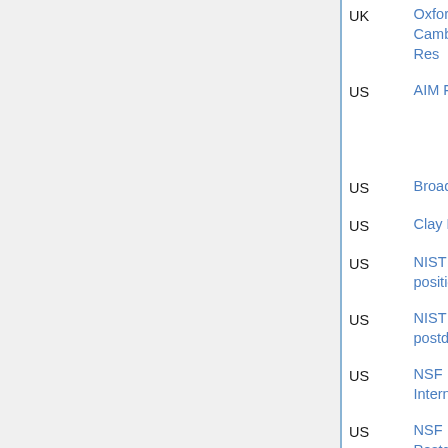| Country | Program | Deadline | Notes |
| --- | --- | --- | --- |
| UK | Oxford-Cambridge Jr Res | various |  |
| US | AIM Five-Year | Dec 31 | Kirsten Graham Wickelgren, Melanie Matchett Wood |
| US | Broad Institute |  |  |
| US | Clay Research | Oct 30 | Sucharit Sarkar |
| US | NIST SED position |  |  |
| US | NIST NRC postdoc | Feb 1, Aug 1 |  |
| US | NSF International | Sep 9 |  |
| US | NSF Postdoctoral | Oct 15 | offers |